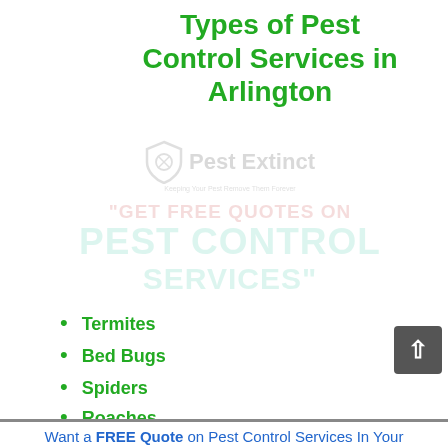Types of Pest Control Services in Arlington
[Figure (logo): Pest Extinct logo watermark with shield icon and tagline, overlaid with text 'GET FREE QUOTES ON PEST CONTROL SERVICES']
Termites
Bed Bugs
Spiders
Roaches
Want a FREE Quote on Pest Control Services In Your